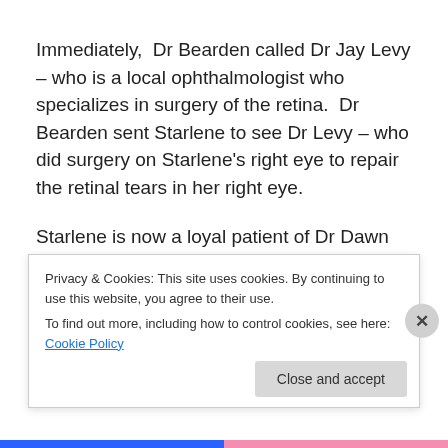Immediately, Dr Bearden called Dr Jay Levy – who is a local ophthalmologist who specializes in surgery of the retina. Dr Bearden sent Starlene to see Dr Levy – who did surgery on Starlene's right eye to repair the retinal tears in her right eye.
Starlene is now a loyal patient of Dr Dawn Bearden's. She is still able to see 20/20 in each eye and has had no further problems from the retinal tears that were surgically repaired by Dr Levy. Each and every year during her
Privacy & Cookies: This site uses cookies. By continuing to use this website, you agree to their use.
To find out more, including how to control cookies, see here: Cookie Policy